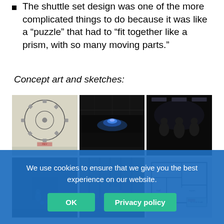The shuttle set design was one of the more complicated things to do because it was like a “puzzle” that had to “fit together like a prism, with so many moving parts.”
Concept art and sketches:
[Figure (photo): A 2x3 grid of concept art images: top-left shows a circular floor plan sketch/blueprint, top-middle shows a dark interior with glowing light, top-right shows silhouetted figures in a dark room, bottom-left shows a dark corridor/room interior, bottom-middle shows a draped/fabric interior space, bottom-right shows a rectangular floor plan blueprint.]
We use cookies to ensure that we give you the best experience on our website.